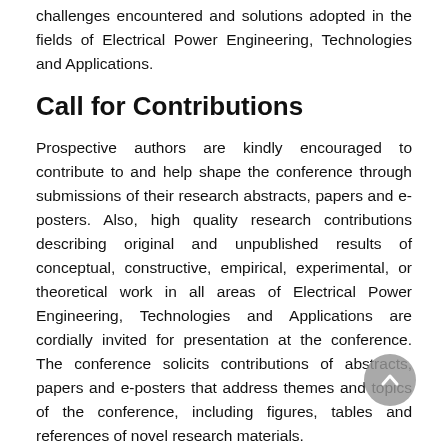challenges encountered and solutions adopted in the fields of Electrical Power Engineering, Technologies and Applications.
Call for Contributions
Prospective authors are kindly encouraged to contribute to and help shape the conference through submissions of their research abstracts, papers and e-posters. Also, high quality research contributions describing original and unpublished results of conceptual, constructive, empirical, experimental, or theoretical work in all areas of Electrical Power Engineering, Technologies and Applications are cordially invited for presentation at the conference. The conference solicits contributions of abstracts, papers and e-posters that address themes and topics of the conference, including figures, tables and references of novel research materials.